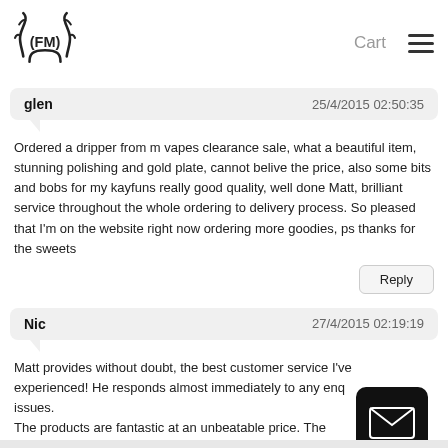FM logo | Cart | Menu
glen  25/4/2015 02:50:35
Ordered a dripper from m vapes clearance sale, what a beautiful item, stunning polishing and gold plate, cannot belive the price, also some bits and bobs for my kayfuns really good quality, well done Matt, brilliant service throughout the whole ordering to delivery process. So pleased that I'm on the website right now ordering more goodies, ps thanks for the sweets
Reply
Nic  27/4/2015 02:19:19
Matt provides without doubt, the best customer service I've experienced! He responds almost immediately to any enq issues.
The products are fantastic at an unbeatable price. The nebu